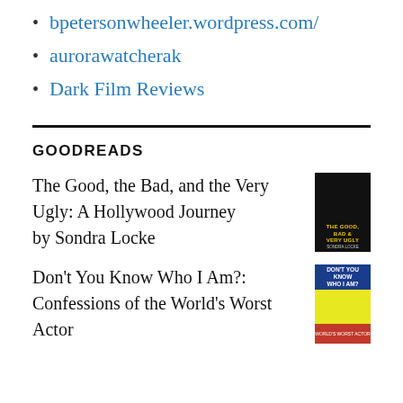bpetersonwheeler.wordpress.com/
aurorawatcherak
Dark Film Reviews
GOODREADS
The Good, the Bad, and the Very Ugly: A Hollywood Journey by Sondra Locke
[Figure (photo): Book cover of The Good, the Bad, and the Very Ugly: A Hollywood Journey by Sondra Locke. Dark background with woman's face and yellow title text.]
Don't You Know Who I Am?: Confessions of the World's Worst Actor
[Figure (photo): Book cover of Don't You Know Who I Am?: Confessions of the World's Worst Actor. Blue top banner, yellow middle section, red bottom band.]